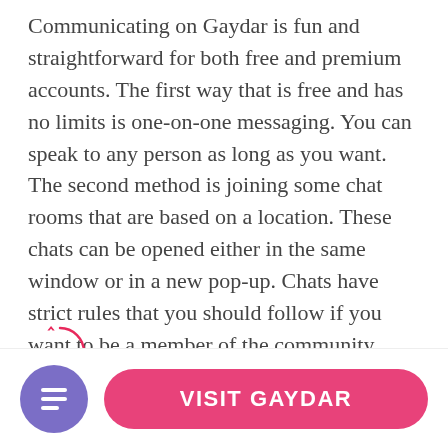Communicating on Gaydar is fun and straightforward for both free and premium accounts. The first way that is free and has no limits is one-on-one messaging. You can speak to any person as long as you want. The second method is joining some chat rooms that are based on a location. These chats can be opened either in the same window or in a new pop-up. Chats have strict rules that you should follow if you want to be a member of the community. Remember about the etiquette and keep politely talking with others. Any harassment, bullying, or other inappropriate behavior are prohibited. You can also send private messages to the chat members.

Chats are not something outstanding these days, but it's the fastest and easiest way to communicate with...
[Figure (infographic): A scroll progress indicator showing 40% with a circular border and an upward arrow, rendered in pink/red color.]
VISIT GAYDAR